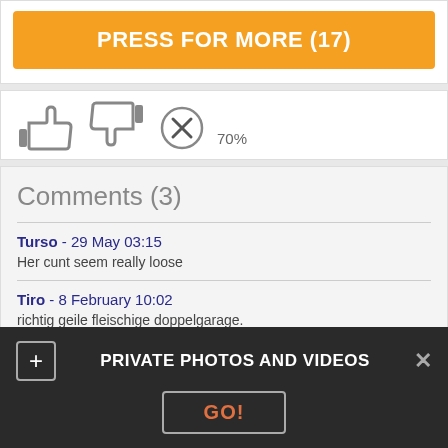PRESS FOR MORE (17)
[Figure (infographic): Thumbs up icon, thumbs down icon, X circle icon with 70% rating label]
Comments (3)
Turso - 29 May 03:15
Her cunt seem really loose
Tiro - 8 February 10:02
richtig geile fleischige doppelgarage.
Tretheway - 25 May 03:27
PRIVATE PHOTOS AND VIDEOS
GO!